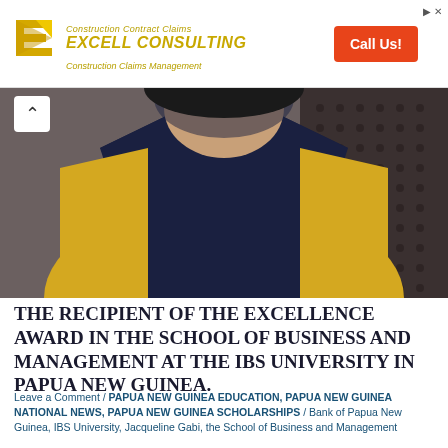[Figure (logo): Excell Consulting advertisement banner with yellow/gold logo, company name, taglines 'Construction Contract Claims' and 'Construction Claims Management', and orange 'Call Us!' button]
[Figure (photo): Person wearing academic graduation regalia — yellow/gold gown with dark navy/black hood/stole, photographed from chest up against a dark background]
THE RECIPIENT OF THE EXCELLENCE AWARD IN THE SCHOOL OF BUSINESS AND MANAGEMENT AT THE IBS UNIVERSITY IN PAPUA NEW GUINEA.
Leave a Comment / PAPUA NEW GUINEA EDUCATION, PAPUA NEW GUINEA NATIONAL NEWS, PAPUA NEW GUINEA SCHOLARSHIPS / Bank of Papua New Guinea, IBS University, Jacqueline Gabi, the School of Business and Management
Mrs. Jacqueline Gabi, a mother of six children, was sponsored by the Bank of Papua New Guinea (BPNG) after working with BPNG for 22 years…